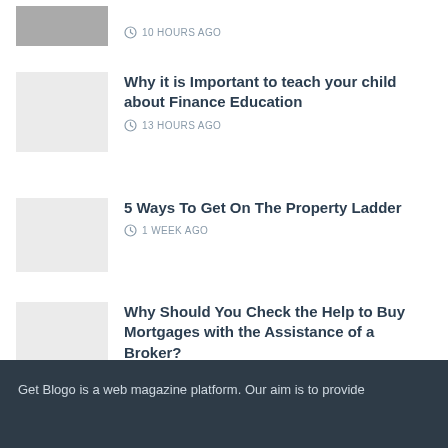10 HOURS AGO
[Figure (photo): Thumbnail image for article (colorful, partially visible at top)]
Why it is Important to teach your child about Finance Education
13 HOURS AGO
[Figure (photo): Grey placeholder thumbnail for property ladder article]
5 Ways To Get On The Property Ladder
1 WEEK AGO
[Figure (photo): Grey placeholder thumbnail for mortgage article]
Why Should You Check the Help to Buy Mortgages with the Assistance of a Broker?
4 DAYS AGO
Get Blogo is a web magazine platform. Our aim is to provide